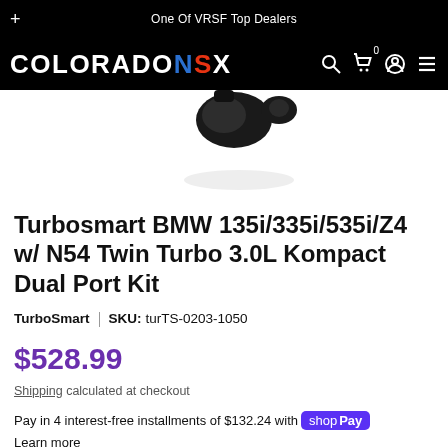+ One Of VRSF Top Dealers
[Figure (logo): ColoradoNSX logo in white and red/blue on black background with navigation icons (search, cart, account, menu)]
[Figure (photo): Partial product image showing black BOV/kompact valve components on white background, partially cropped by navigation bar]
Turbosmart BMW 135i/335i/535i/Z4 w/ N54 Twin Turbo 3.0L Kompact Dual Port Kit
TurboSmart | SKU: turTS-0203-1050
$528.99
Shipping calculated at checkout
Pay in 4 interest-free installments of $132.24 with Shop Pay
Learn more